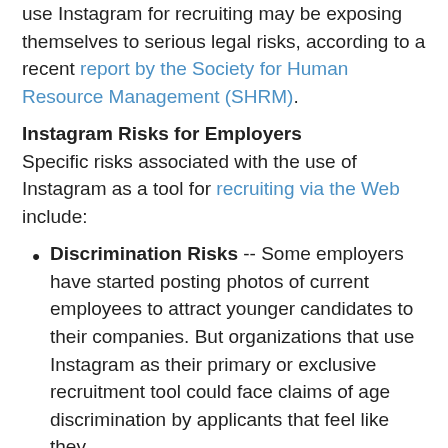use Instagram for recruiting may be exposing themselves to serious legal risks, according to a recent report by the Society for Human Resource Management (SHRM).
Instagram Risks for Employers
Specific risks associated with the use of Instagram as a tool for recruiting via the Web include:
Discrimination Risks -- Some employers have started posting photos of current employees to attract younger candidates to their companies. But organizations that use Instagram as their primary or exclusive recruitment tool could face claims of age discrimination by applicants that feel like they